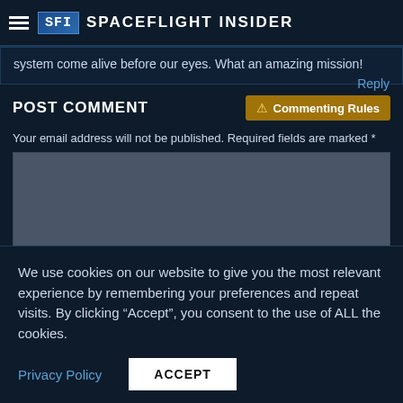Spaceflight Insider
system come alive before our eyes. What an amazing mission!
Reply
POST COMMENT
Commenting Rules
Your email address will not be published. Required fields are marked *
We use cookies on our website to give you the most relevant experience by remembering your preferences and repeat visits. By clicking “Accept”, you consent to the use of ALL the cookies.
Privacy Policy
ACCEPT